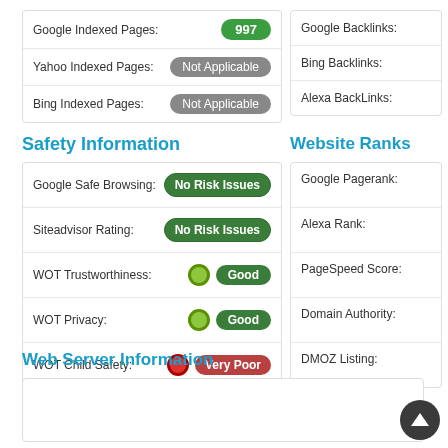| Label | Value |
| --- | --- |
| Google Indexed Pages: | 997 |
| Yahoo Indexed Pages: | Not Applicable |
| Bing Indexed Pages: | Not Applicable |
| Label |
| --- |
| Google Backlinks: |
| Bing Backlinks: |
| Alexa BackLinks: |
Safety Information
Website Ranks
| Label | Value |
| --- | --- |
| Google Safe Browsing: | No Risk Issues |
| Siteadvisor Rating: | No Risk Issues |
| WOT Trustworthiness: | Good |
| WOT Privacy: | Good |
| WOT Child Safety: | Very Poor |
| Label |
| --- |
| Google Pagerank: |
| Alexa Rank: |
| PageSpeed Score: |
| Domain Authority: |
| DMOZ Listing: |
Web Server Information